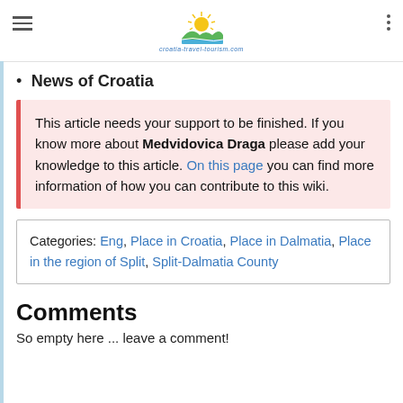croatia-travel-tourism.com
News of Croatia
This article needs your support to be finished. If you know more about Medvidovica Draga please add your knowledge to this article. On this page you can find more information of how you can contribute to this wiki.
Categories: Eng, Place in Croatia, Place in Dalmatia, Place in the region of Split, Split-Dalmatia County
Comments
So empty here ... leave a comment!